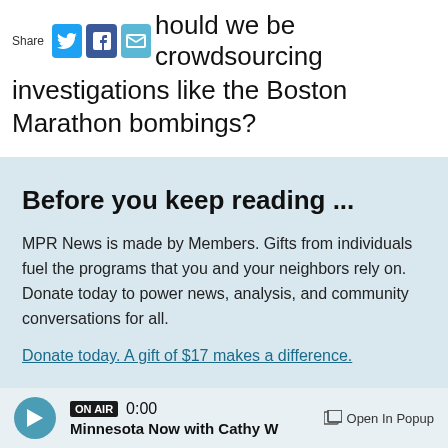[Figure (infographic): Share icons for Twitter (blue bird), Facebook (blue f), and Email (teal envelope)]
Should we be crowdsourcing investigations like the Boston Marathon bombings?
Before you keep reading ...
MPR News is made by Members. Gifts from individuals fuel the programs that you and your neighbors rely on. Donate today to power news, analysis, and community conversations for all.
Donate today. A gift of $17 makes a difference.
Support MPR News Today ♥
ON AIR 0:00 Minnesota Now with Cathy W  Open In Popup